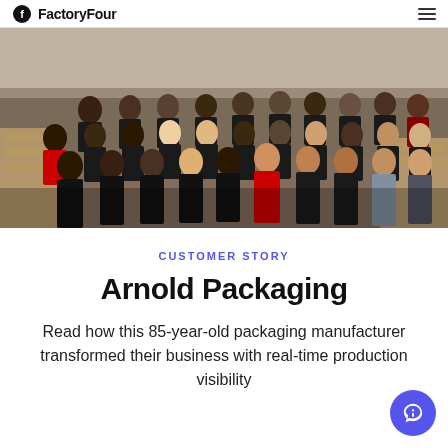FactoryFour
[Figure (photo): Group photo of approximately 40 employees wearing dark and red Arnold company t-shirts, standing in rows inside a warehouse/factory setting with wooden pallets visible in the background.]
CUSTOMER STORY
Arnold Packaging
Read how this 85-year-old packaging manufacturer transformed their business with real-time production visibility